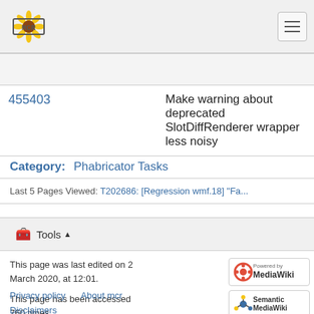[MCR] ≡
|  |  |
| --- | --- |
|  |  |
| 455403 | Make warning about deprecated SlotDiffRenderer wrapper less noisy |
Category:   Phabricator Tasks
Last 5 Pages Viewed: T202686: [Regression wmf.18] "Fa...
🧰  Tools ▲
This page was last edited on 2 March 2020, at 12:01.
This page has been accessed 760 times.
Privacy policy   About mcr
Disclaimers
[Figure (logo): Powered by MediaWiki badge]
[Figure (logo): Semantic MediaWiki badge]